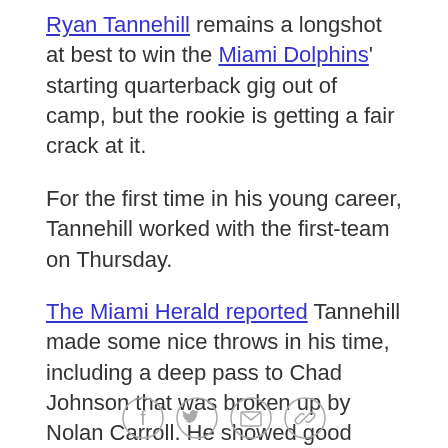Ryan Tannehill remains a longshot at best to win the Miami Dolphins' starting quarterback gig out of camp, but the rookie is getting a fair crack at it.
For the first time in his young career, Tannehill worked with the first-team on Thursday.
The Miami Herald reported Tannehill made some nice throws in his time, including a deep pass to Chad Johnson that was broken up by Nolan Carroll. He showed good touch and accuracy in hooking up with Johnson on some short and intermediate routes.
"I think it's on an as-earned basis," Dolphins coach Joe Philbin said of Tannehill's opportunity. "He's throwing the ball well enough in the couple of days he's been at